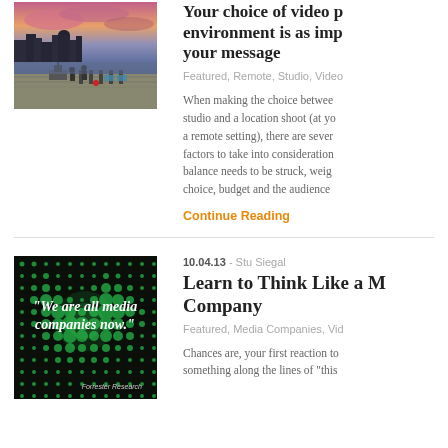[Figure (photo): Outdoor waterfront scene at sunset with pink/purple sky, people and camera equipment on a dock or pier, city skyline in background]
Your choice of video production environment is as important as your message
Featured, Remote, Studio, Video
When making the choice between a studio and a location shoot (at your office or a remote setting), there are several factors to take into consideration. A balance needs to be struck, weighing creative choice, budget and the audience...
Continue Reading
10.04.13 - Stu Siegal
[Figure (photo): Dark background with green glowing dots/circles pattern, white text reading "We are all media companies now." and Forrester Research attribution]
Learn to Think Like a Media Company
Featured, Media Companies, Vid...
Chances are, your first reaction to something along the lines of "this...